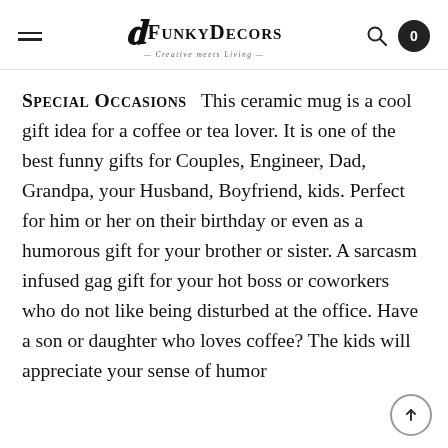FunkyDecors — Creative meets Living
SPECIAL OCCASIONS   This ceramic mug is a cool gift idea for a coffee or tea lover. It is one of the best funny gifts for Couples, Engineer, Dad, Grandpa, your Husband, Boyfriend, kids. Perfect for him or her on their birthday or even as a humorous gift for your brother or sister. A sarcasm infused gag gift for your hot boss or coworkers who do not like being disturbed at the office. Have a son or daughter who loves coffee? The kids will appreciate your sense of humor